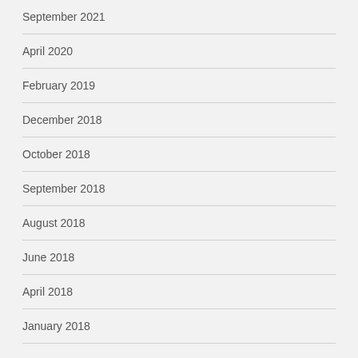September 2021
April 2020
February 2019
December 2018
October 2018
September 2018
August 2018
June 2018
April 2018
January 2018